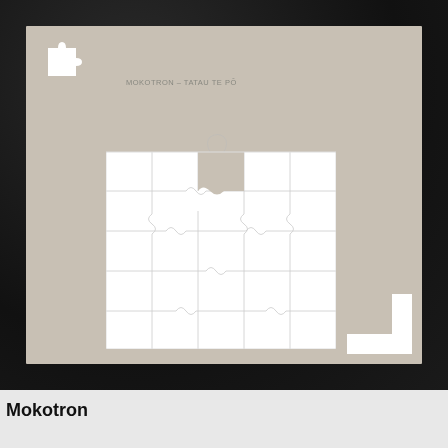[Figure (illustration): Album cover art for Mokotron - Tatau Te Po. Dark leather-textured black frame surrounding a beige/grey cardboard inner square. Top left shows a white jigsaw puzzle piece icon with small text 'MOKOTRON - TATAU TE PO'. Center of the inner square shows a white jigsaw puzzle (approximately 5x5 grid) with one piece missing from the top center. Bottom right corner of the inner square has a white L-shaped corner mark.]
Mokotron